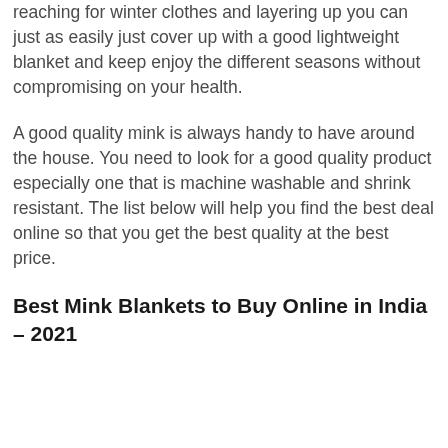reaching for winter clothes and layering up you can just as easily just cover up with a good lightweight blanket and keep enjoy the different seasons without compromising on your health.
A good quality mink is always handy to have around the house. You need to look for a good quality product especially one that is machine washable and shrink resistant. The list below will help you find the best deal online so that you get the best quality at the best price.
Best Mink Blankets to Buy Online in India – 2021